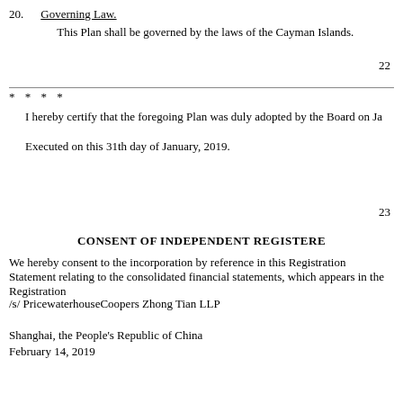20. Governing Law.

This Plan shall be governed by the laws of the Cayman Islands.
22
* * * *
I hereby certify that the foregoing Plan was duly adopted by the Board on Ja
Executed on this 31th day of January, 2019.
23
CONSENT OF INDEPENDENT REGISTERE
We hereby consent to the incorporation by reference in this Registration Statement relating to the consolidated financial statements, which appears in the Registration
/s/ PricewaterhouseCoopers Zhong Tian LLP
Shanghai, the People's Republic of China
February 14, 2019